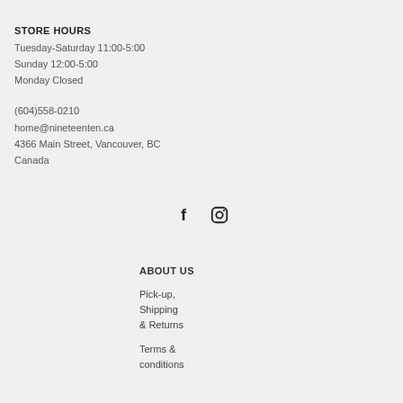STORE HOURS
Tuesday-Saturday 11:00-5:00
Sunday 12:00-5:00
Monday Closed
(604)558-0210
home@nineteenten.ca
4366 Main Street, Vancouver, BC
Canada
[Figure (illustration): Facebook and Instagram social media icons]
ABOUT US
Pick-up, Shipping & Returns
Terms & conditions